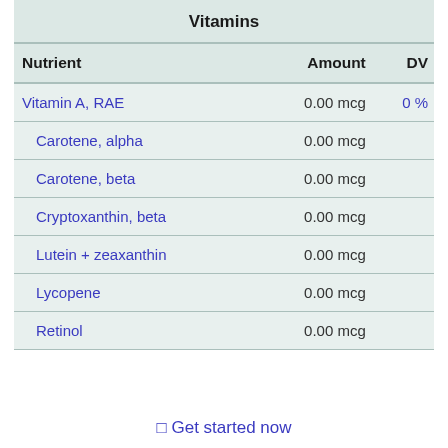| Nutrient | Amount | DV |
| --- | --- | --- |
| Vitamin A, RAE | 0.00 mcg | 0 % |
|   Carotene, alpha | 0.00 mcg |  |
|   Carotene, beta | 0.00 mcg |  |
|   Cryptoxanthin, beta | 0.00 mcg |  |
|   Lutein + zeaxanthin | 0.00 mcg |  |
|   Lycopene | 0.00 mcg |  |
|   Retinol | 0.00 mcg |  |
⊡ Get started now